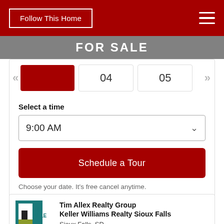Follow This Home
FOR SALE
04   05
Select a time
9:00 AM
Schedule a Tour
Choose your date. It's free cancel anytime.
Tim Allex Realty Group
Keller Williams Realty Sioux Falls
Sioux Falls, SD